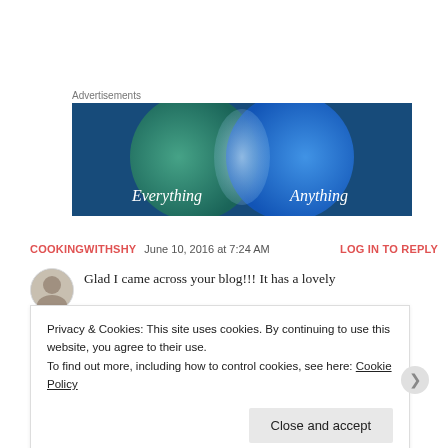Advertisements
[Figure (illustration): Advertisement banner with two overlapping circles (Venn diagram style) on a blue-green gradient background. Left circle is teal/green with text 'Everything', right circle is blue with text 'Anything'. The overlapping area is a lighter glow. Dark blue background.]
COOKINGWITHSHY    June 10, 2016 at 7:24 AM    LOG IN TO REPLY
Glad I came across your blog!!! It has a lovely
Privacy & Cookies: This site uses cookies. By continuing to use this website, you agree to their use.
To find out more, including how to control cookies, see here: Cookie Policy
Close and accept